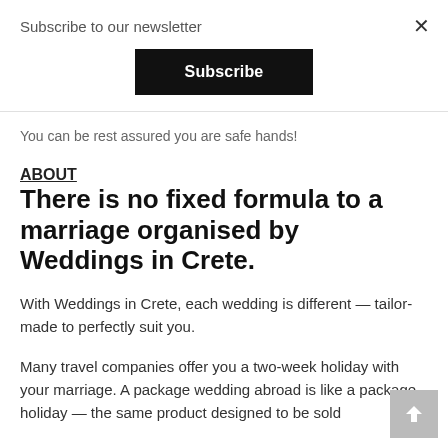Subscribe to our newsletter
Subscribe
×
You can be rest assured you are safe hands!
ABOUT
There is no fixed formula to a marriage organised by Weddings in Crete.
With Weddings in Crete, each wedding is different — tailor-made to perfectly suit you.
Many travel companies offer you a two-week holiday with your marriage. A package wedding abroad is like a package holiday — the same product designed to be sold